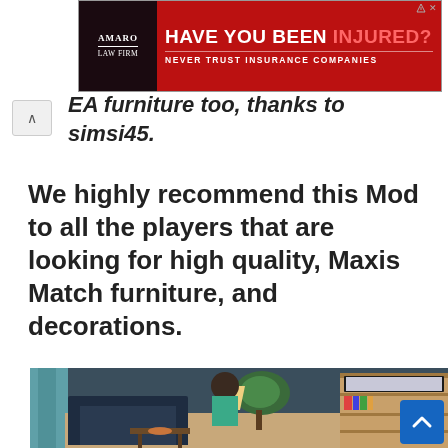[Figure (screenshot): Advertisement banner for Amaro Law Firm: 'HAVE YOU BEEN INJURED? NEVER TRUST INSURANCE COMPANIES']
EA furniture too, thanks to simsi45.
We highly recommend this Mod to all the players that are looking for high quality, Maxis Match furniture, and decorations.
[Figure (screenshot): Screenshot from The Sims 4 game showing a Sim sitting on a dark sofa in a decorated living room with bookshelves, television, plants, and a lamp in the background.]